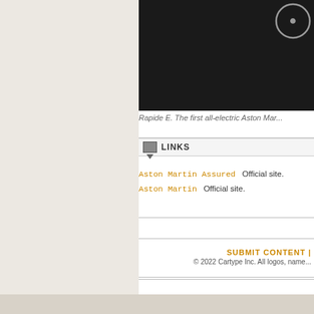[Figure (screenshot): Dark video thumbnail with circular play button icon in upper right, showing a paused video frame on dark background]
Rapide E. The first all-electric Aston Mar...
LINKS
Aston Martin Assured   Official site.
Aston Martin   Official site.
SUBMIT CONTENT |
© 2022 Cartype Inc. All logos, name...